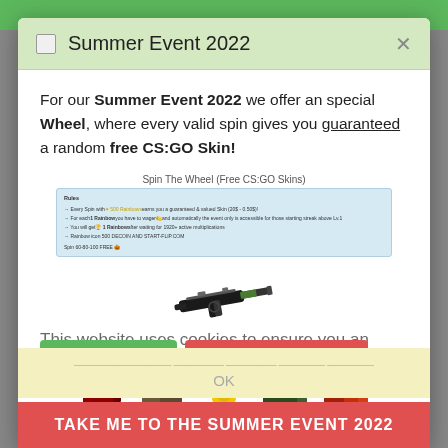Summer Event 2022
For our Summer Event 2022 we offer an special Wheel, where every valid spin gives you guaranteed a random free CS:GO Skin!
[Figure (screenshot): Screenshot of a webpage showing 'Spin The Wheel (Free CS:GO Skins)' with rules text and a CS:GO weapon skin (MP5)]
This website uses cookies to ensure you an optimal user experience. Learn more
[Figure (screenshot): Cookie consent buttons: 'THAT'S OK WITH ME' (green) and 'I DON'T WANT ANY COOKIES' (red)]
[Figure (screenshot): Row of CS:GO skins displayed below the cookie notice]
OK
TAKE ME TO THE SUMMER EVENT 2022